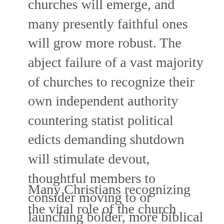churches will emerge, and many presently faithful ones will grow more robust. The abject failure of a vast majority of churches to recognize their own independent authority countering statist political edicts demanding shutdown will stimulate devout, thoughtful members to consider moving to or launching bolder, more biblical churches.
Many Christians recognizing the vital role of the church